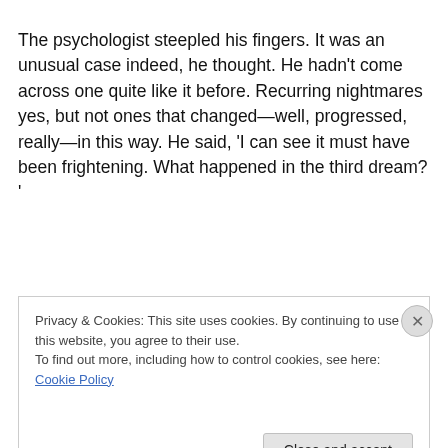The psychologist steepled his fingers. It was an unusual case indeed, he thought. He hadn't come across one quite like it before. Recurring nightmares yes, but not ones that changed—well, progressed, really—in this way. He said, 'I can see it must have been frightening. What happened in the third dream? '
Privacy & Cookies: This site uses cookies. By continuing to use this website, you agree to their use.
To find out more, including how to control cookies, see here: Cookie Policy